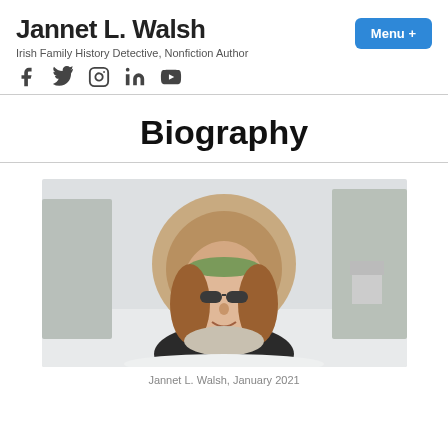Jannet L. Walsh
Irish Family History Detective, Nonfiction Author
[Figure (logo): Social media icons: Facebook, Twitter, Instagram, LinkedIn, YouTube]
Menu +
Biography
[Figure (photo): Photo of Jannet L. Walsh outdoors in winter, wearing a fur-trimmed parka hood, green knit headband, and sunglasses, with snow and trees in the background.]
Jannet L. Walsh, January 2021